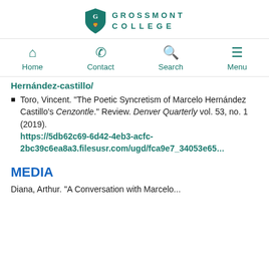[Figure (logo): Grossmont College shield logo with teal color and institution name in spaced capital letters]
Home | Contact | Search | Menu
Hernández-castillo/
Toro, Vincent. "The Poetic Syncretism of Marcelo Hernández Castillo's Cenzontle." Review. Denver Quarterly vol. 53, no. 1 (2019). https://5db62c69-6d42-4eb3-acfc-2bc39c6ea8a3.filesusr.com/ugd/fca9e7_34053e65...
MEDIA
Diana, Arthur. "A Conversation with Marcelo...